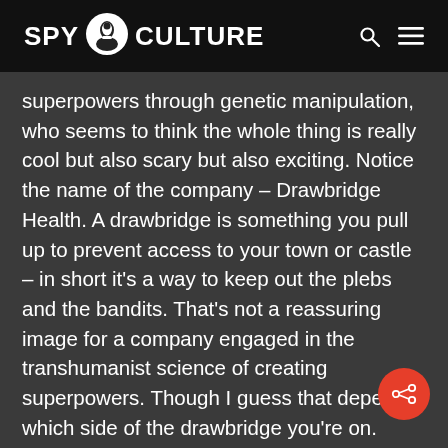SPY CULTURE
superpowers through genetic manipulation, who seems to think the whole thing is really cool but also scary but also exciting. Notice the name of the company – Drawbridge Health. A drawbridge is something you pull up to prevent access to your town or castle – in short it's a way to keep out the plebs and the bandits. That's not a reassuring image for a company engaged in the transhumanist science of creating superpowers. Though I guess that depends which side of the drawbridge you're on.